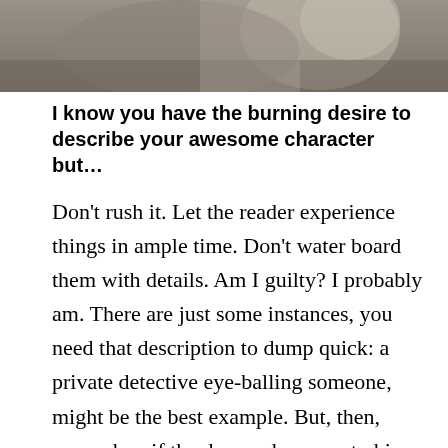[Figure (photo): A black and white or muted-tone photo showing a person outdoors, partially visible at the top of the page.]
I know you have the burning desire to describe your awesome character but…
Don't rush it. Let the reader experience things in ample time. Don't water board them with details. Am I guilty? I probably am. There are just some instances, you need that description to dump quick: a private detective eye-balling someone, might be the best example. But, then, remember, if the dame who came to his office is sitting down to ask for his help, you have a scene to unload that information through. In addition, you want to ask yourself: does it matter to the story or just my heart? Does the reader need this